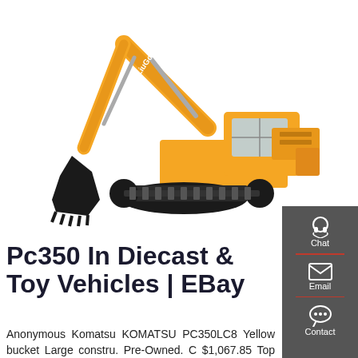[Figure (photo): Yellow LiuGong excavator/construction machine on white background, with black bucket and tracks]
Pc350 In Diecast & Toy Vehicles | EBay
Anonymous Komatsu KOMATSU PC350LC8 Yellow bucket Large constru. Pre-Owned. C $1,067.85 Top Rated Seller Top Rated Seller. or Best Offer +C $24.79 shipping. from Japan. Free returns. Large Excavator Komatsu Pc350Lc-8 Yellow Bucket